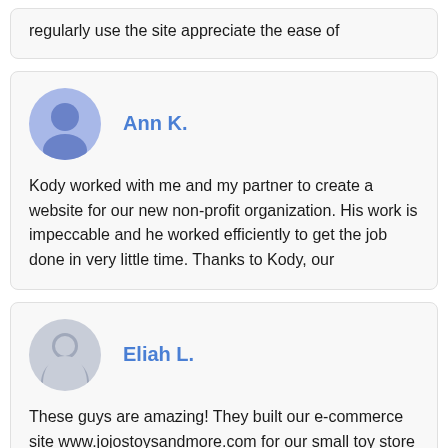regularly use the site appreciate the ease of
Ann K.
Kody worked with me and my partner to create a website for our new non-profit organization. His work is impeccable and he worked efficiently to get the job done in very little time. Thanks to Kody, our
Eliah L.
These guys are amazing! They built our e-commerce site www.jojostoysandmore.com for our small toy store in less than a week! Incredible